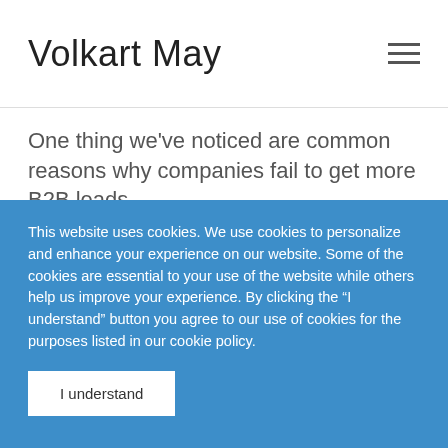Volkart May
One thing we've noticed are common reasons why companies fail to get more B2B leads.
Too often, B2B firms wait until the situation is urgent before taking action. That puts even more pressure on marketing and sales teams to deliver, with little margin for error. Or they unleash their
This website uses cookies. We use cookies to personalize and enhance your experience on our website. Some of the cookies are essential to your use of the website while others help us improve your experience. By clicking the “I understand” button you agree to our use of cookies for the purposes listed in our cookie policy.
I understand